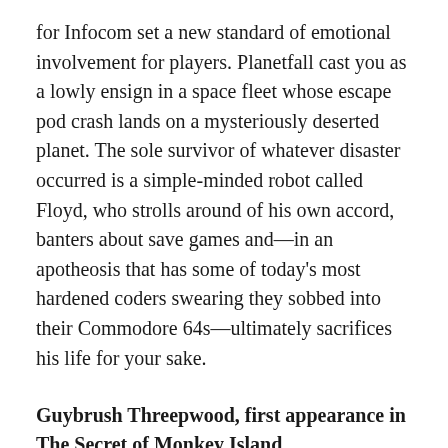for Infocom set a new standard of emotional involvement for players. Planetfall cast you as a lowly ensign in a space fleet whose escape pod crash lands on a mysteriously deserted planet. The sole survivor of whatever disaster occurred is a simple-minded robot called Floyd, who strolls around of his own accord, banters about save games and—in an apotheosis that has some of today's most hardened coders swearing they sobbed into their Commodore 64s—ultimately sacrifices his life for your sake.
Guybrush Threepwood, first appearance in The Secret of Monkey Island
“I once owned a dog that was smarter then you.”